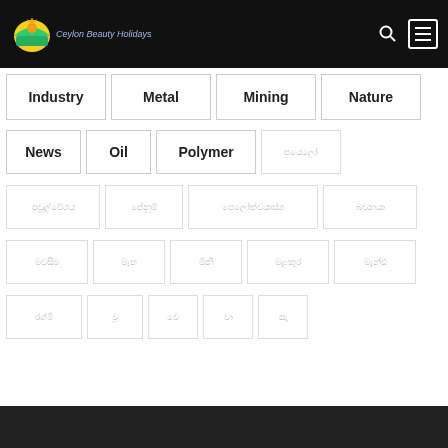Ceylon Beauty Holidays - navigation header with logo, search, and menu
Industry
Metal
Mining
Nature
News
Oil
Polymer
[Sinhala/Tamil script tag]
[Sinhala/Tamil script tags row 3]
[Sinhala/Tamil script tags row 4]
[Sinhala/Tamil script tags row 5]
Footer bar